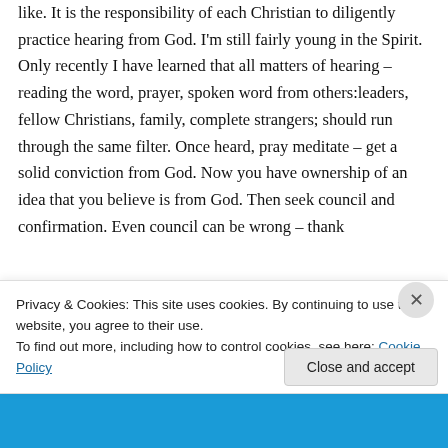like. It is the responsibility of each Christian to diligently practice hearing from God. I'm still fairly young in the Spirit. Only recently I have learned that all matters of hearing – reading the word, prayer, spoken word from others:leaders, fellow Christians, family, complete strangers; should run through the same filter. Once heard, pray meditate – get a solid conviction from God. Now you have ownership of an idea that you believe is from God. Then seek council and confirmation. Even council can be wrong – thank
Privacy & Cookies: This site uses cookies. By continuing to use this website, you agree to their use.
To find out more, including how to control cookies, see here: Cookie Policy